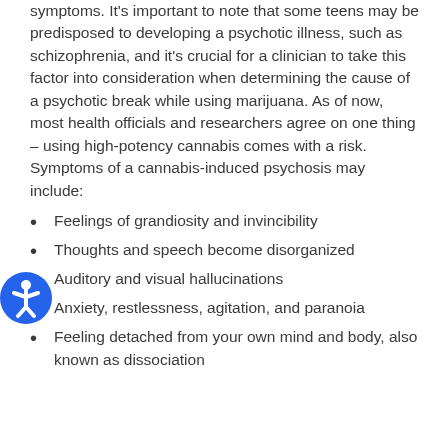symptoms. It's important to note that some teens may be predisposed to developing a psychotic illness, such as schizophrenia, and it's crucial for a clinician to take this factor into consideration when determining the cause of a psychotic break while using marijuana. As of now, most health officials and researchers agree on one thing – using high-potency cannabis comes with a risk. Symptoms of a cannabis-induced psychosis may include:
Feelings of grandiosity and invincibility
Thoughts and speech become disorganized
Auditory and visual hallucinations
Anxiety, restlessness, agitation, and paranoia
Feeling detached from your own mind and body, also known as dissociation